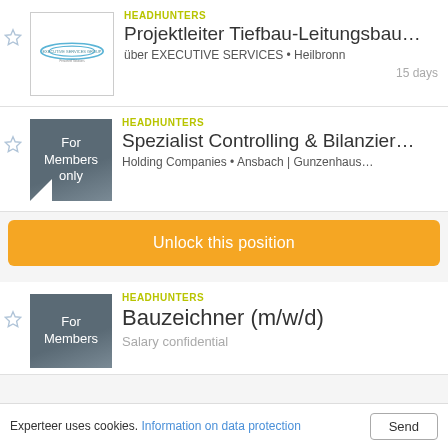HEADHUNTERS | Projektleiter Tiefbau-Leitungsbau... | über EXECUTIVE SERVICES • Heilbronn | 15 days
HEADHUNTERS | Spezialist Controlling & Bilanzier... | Holding Companies • Ansbach | Gunzenhaus...
Unlock this position
HEADHUNTERS | Bauzeichner (m/w/d) | Salary confidential
Experteer uses cookies. Information on data protection | Send